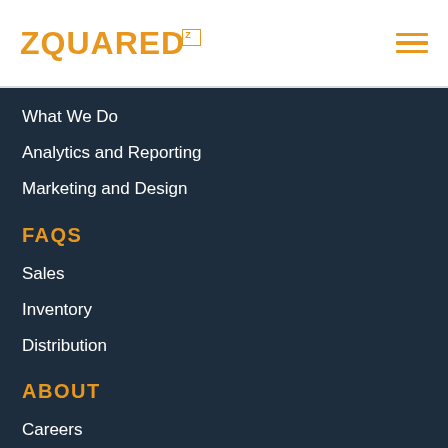[Figure (logo): ZQUARED logo in orange bold uppercase letters with a small superscript Z icon]
What We Do
Analytics and Reporting
Marketing and Design
FAQS
Sales
Inventory
Distribution
ABOUT
Careers